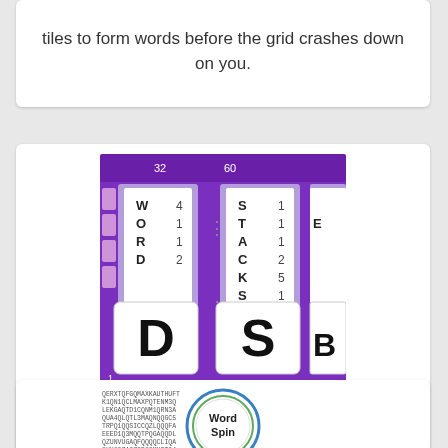tiles to form words before the grid crashes down on you.
[Figure (screenshot): Wordstacks game screenshot showing card stacks with letters W,O,R,D and S,T,A,C,K,S on a purple background with large D and S cards]
Wordstacks
Cards meet letters! You must try to make words by moving letters between the stacks. Longer words score higher, but try to use the more difficult letters for the maximum points!
[Figure (screenshot): Word Spin game screenshot showing a circular word search grid with 'Word Spin' text in the center circle, surrounded by letters arranged in a circle pattern]